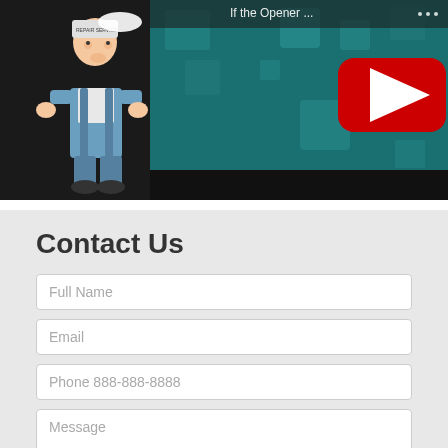[Figure (screenshot): YouTube video thumbnail showing an animated mechanic character in blue overalls on a teal background with floating squares. Text reads 'If the Opener ... this could be concern.' with a red YouTube play button overlay.]
Contact Us
Full Name
Email
Phone 888-888-8888
Message